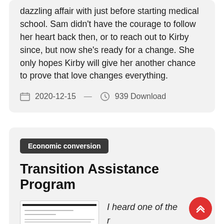dazzling affair with just before starting medical school. Sam didn't have the courage to follow her heart back then, or to reach out to Kirby since, but now she's ready for a change. She only hopes Kirby will give her another chance to prove that love changes everything.
2020-12-15 — 939 Download
Economic conversion
Transition Assistance Program
I heard one of the witnesses talk about